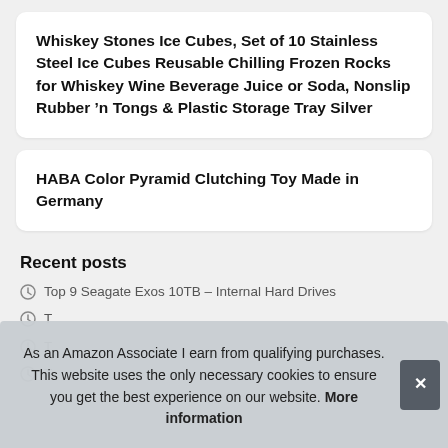Whiskey Stones Ice Cubes, Set of 10 Stainless Steel Ice Cubes Reusable Chilling Frozen Rocks for Whiskey Wine Beverage Juice or Soda, Nonslip Rubber ’n Tongs & Plastic Storage Tray Silver
HABA Color Pyramid Clutching Toy Made in Germany
Recent posts
Top 9 Seagate Exos 10TB – Internal Hard Drives
T
T
T
As an Amazon Associate I earn from qualifying purchases. This website uses the only necessary cookies to ensure you get the best experience on our website. More information